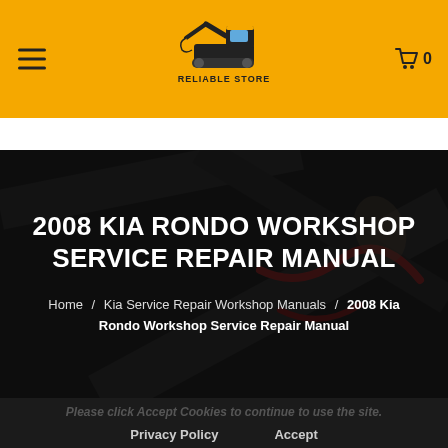Reliable Store – header navigation with hamburger menu, logo, and cart icon (0 items)
[Figure (logo): Reliable Store logo: yellow excavator illustration above text 'RELIABLE STORE' with tagline]
2008 KIA RONDO WORKSHOP SERVICE REPAIR MANUAL
Home / Kia Service Repair Workshop Manuals / 2008 Kia Rondo Workshop Service Repair Manual
Please click Accept Cookies to continue to use the site.
Privacy Policy    Accept